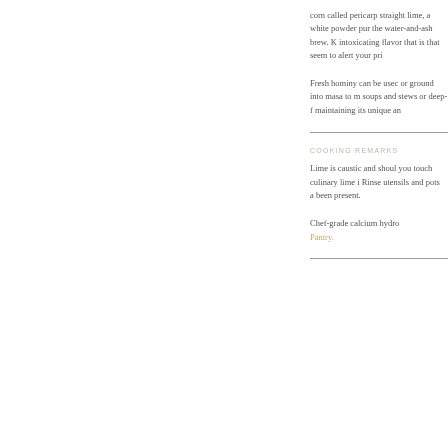corn called pericarp stra... lime, a white powder pur... the water-and-ash brew. K... intoxicating flavor that is... that seem to alert your pri...
Fresh hominy can be usec... or ground into masa to m... soups and stews or deep-f... maintaining its unique an...
COOKING REMARKS
Lime is caustic and shoul... you touch culinary lime i... Rinse utensils and pots a... been present.
Chef-grade calcium hydro... Pantry.